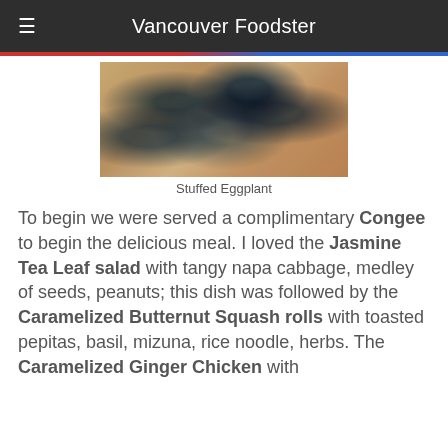Vancouver Foodster
[Figure (photo): Photo of stuffed eggplant on a blue and white decorative plate on a wooden surface]
Stuffed Eggplant
To begin we were served a complimentary Congee to begin the delicious meal. I loved the Jasmine Tea Leaf salad with tangy napa cabbage, medley of seeds, peanuts; this dish was followed by the Caramelized Butternut Squash rolls with toasted pepitas, basil, mizuna, rice noodle, herbs. The Caramelized Ginger Chicken with